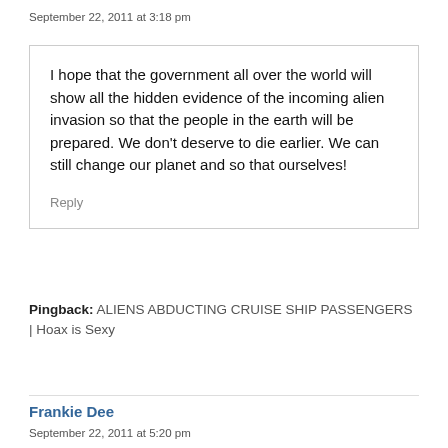September 22, 2011 at 3:18 pm
I hope that the government all over the world will show all the hidden evidence of the incoming alien invasion so that the people in the earth will be prepared. We don't deserve to die earlier. We can still change our planet and so that ourselves!
Reply
Pingback: ALIENS ABDUCTING CRUISE SHIP PASSENGERS | Hoax is Sexy
Frankie Dee
September 22, 2011 at 5:20 pm